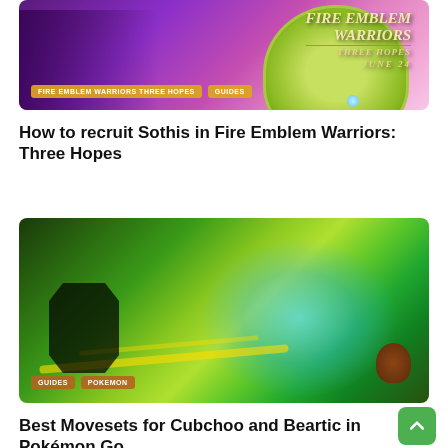[Figure (screenshot): Fire Emblem Warriors: Three Hopes promotional banner image with purple/pink fantasy art and character silhouettes. Tags: FIRE EMBLEM WARRIORS THREE HOPES | GUIDES. Date: JUNE 24]
How to recruit Sothis in Fire Emblem Warriors: Three Hopes
[Figure (screenshot): Pokemon Go gameplay screenshot showing a large green Pokemon and a silhouetted trainer with glowing cyan energy effects on a green background. Tags: GUIDES | POKEMON]
Best Movesets for Cubchoo and Beartic in Pokémon Go